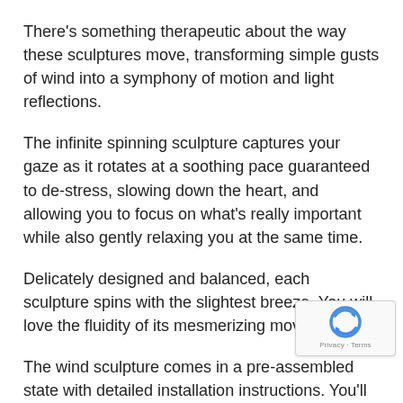There's something therapeutic about the way these sculptures move, transforming simple gusts of wind into a symphony of motion and light reflections.
The infinite spinning sculpture captures your gaze as it rotates at a soothing pace guaranteed to de-stress, slowing down the heart, and allowing you to focus on what's really important while also gently relaxing you at the same time.
Delicately designed and balanced, each sculpture spins with the slightest breeze. You will love the fluidity of its mesmerizing movements.
The wind sculpture comes in a pre-assembled state with detailed installation instructions. You'll only need between 20 – 30 minutes to assemble it before you can reap its gentle hypnotic effects.
All our wind sculptures are made from high-quality stai… steel for durability. They will rotate and reflect the sunlight in…